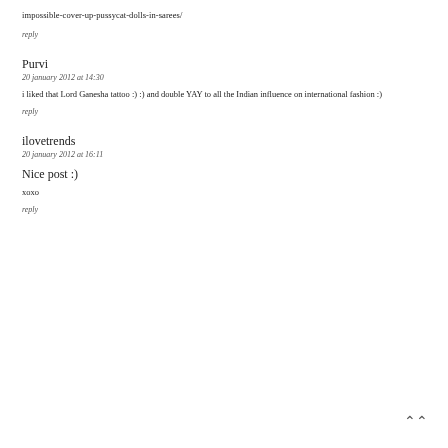impossible-cover-up-pussycat-dolls-in-sarees/
reply
Purvi
20 january 2012 at 14:30
i liked that Lord Ganesha tattoo :) :) and double YAY to all the Indian influence on international fashion :)
reply
ilovetrends
20 january 2012 at 16:11
Nice post :)
xoxo
reply